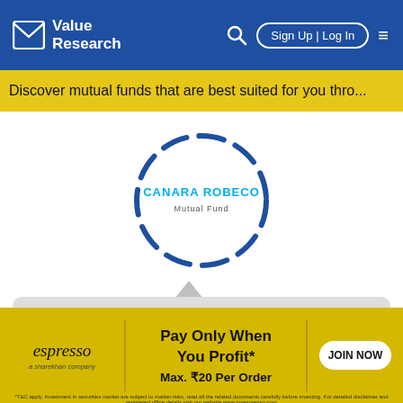Value Research — Sign Up | Log In
Discover mutual funds that are best suited for you thro...
[Figure (logo): Canara Robeco Mutual Fund logo inside a dashed circle]
Click to see a quick summary and important updates about this fund!
Dismiss
[Figure (infographic): Espresso ad banner: Pay Only When You Profit* Max. ₹20 Per Order — JOIN NOW]
*T&C apply. Investment in securities market are subject to market risks, read all the related documents carefully before investing. For detailed disclaimer and registered office details visit our website www.myespresso.com